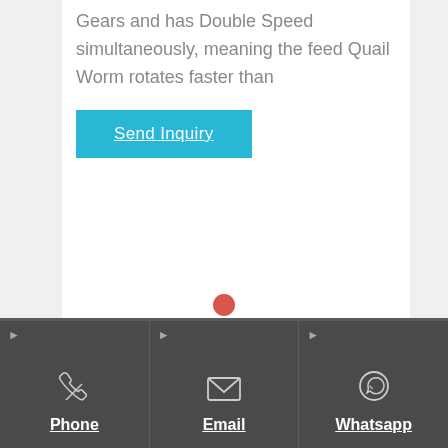Gears and has Double Speed simultaneously, meaning the feed Quail Worm rotates faster than
Send Inquiry
[Figure (other): Footer navigation bar with three columns: Phone (phone icon), Email (envelope icon), Whatsapp (WhatsApp icon), each with underlined white label text on dark gray background.]